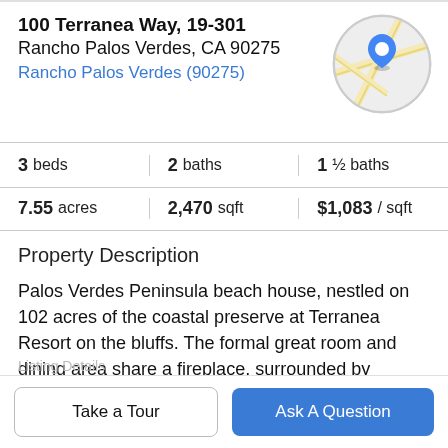100 Terranea Way, 19-301
Rancho Palos Verdes, CA 90275
Rancho Palos Verdes (90275)
[Figure (map): Circular map thumbnail showing street map with blue location pin marker]
3 beds   2 baths   1 ½ baths
7.55 acres   2,470 sqft   $1,083 / sqft
Property Description
Palos Verdes Peninsula beach house, nestled on 102 acres of the coastal preserve at Terranea Resort on the bluffs. The formal great room and dining area share a fireplace, surrounded by spectacular golf course and partial ocean views. Kitchen featuring Viking appliances
Listing Details
Take a Tour
Ask A Question